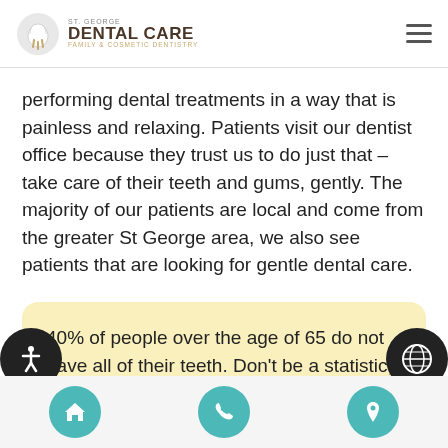ST. GEORGE DENTAL CARE FAMILY & COSMETIC DENTISTRY
performing dental treatments in a way that is painless and relaxing. Patients visit our dentist office because they trust us to do just that – take care of their teeth and gums, gently. The majority of our patients are local and come from the greater St George area, we also see patients that are looking for gentle dental care.
40% of people over the age of 65 do not have all of their teeth. Don't be a statistic, come see us!  Read more
Home | Phone | Location navigation buttons